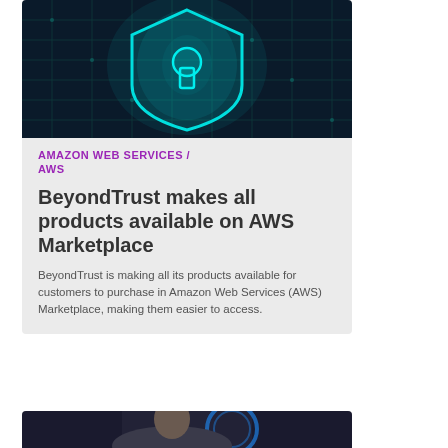[Figure (photo): Cybersecurity illustration: glowing teal shield with a keyhole icon on a dark circuit board background]
AMAZON WEB SERVICES / AWS
BeyondTrust makes all products available on AWS Marketplace
BeyondTrust is making all its products available for customers to purchase in Amazon Web Services (AWS) Marketplace, making them easier to access.
[Figure (photo): Partial photo of a person in a suit with a blurred circular graphic element, suggesting technology or connectivity theme]